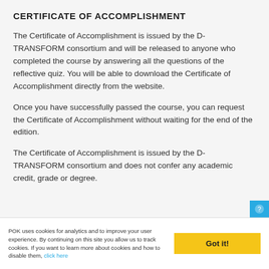CERTIFICATE OF ACCOMPLISHMENT
The Certificate of Accomplishment is issued by the D-TRANSFORM consortium and will be released to anyone who completed the course by answering all the questions of the reflective quiz. You will be able to download the Certificate of Accomplishment directly from the website.
Once you have successfully passed the course, you can request the Certificate of Accomplishment without waiting for the end of the edition.
The Certificate of Accomplishment is issued by the D-TRANSFORM consortium and does not confer any academic credit, grade or degree.
POK uses cookies for analytics and to improve your user experience. By continuing on this site you allow us to track cookies. If you want to learn more about cookies and how to disable them, click here